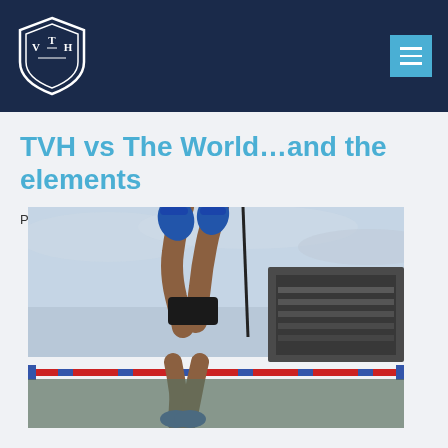TVH (logo) with navigation menu button
TVH vs The World…and the elements
Posted on 27 May 2021
[Figure (photo): Athlete performing high jump, legs visible above the bar, viewed from below against a cloudy sky. A red and blue high jump bar is visible at the bottom of the image.]